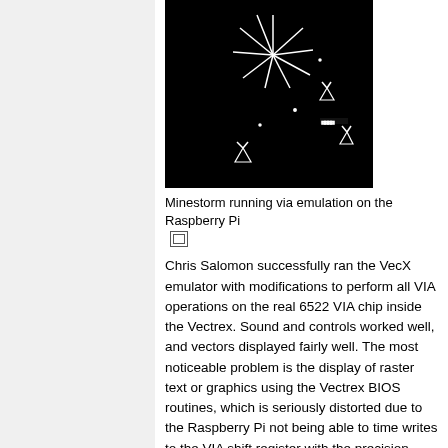[Figure (screenshot): Screenshot of Minestorm game running via emulation on the Raspberry Pi — dark/black background with white vector graphics showing the Minestorm game (asterisk-like asteroids and small spaceship shapes)]
Minestorm running via emulation on the Raspberry Pi
Chris Salomon successfully ran the VecX emulator with modifications to perform all VIA operations on the real 6522 VIA chip inside the Vectrex. Sound and controls worked well, and vectors displayed fairly well. The most noticeable problem is the display of raster text or graphics using the Vectrex BIOS routines, which is seriously distorted due to the Raspberry Pi not being able to time writes to the VIA shift register with the precision required. Improvements using the IRQ LATCH function of the